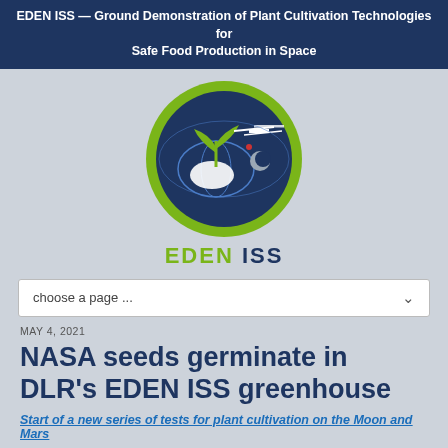EDEN ISS — Ground Demonstration of Plant Cultivation Technologies for Safe Food Production in Space
[Figure (logo): EDEN ISS circular logo: dark blue circle with ISS space station, green plant sprout, Earth globe, moon, and red dot; surrounded by green ring. Below: 'EDEN ISS' text in green and dark blue.]
choose a page ...
MAY 4, 2021
NASA seeds germinate in DLR’s EDEN ISS greenhouse
Start of a new series of tests for plant cultivation on the Moon and Mars
Nine weeks of darkness and temperatures down to minus 50 degrees Celsius. Under these harsh conditions of Antarctica, NASA